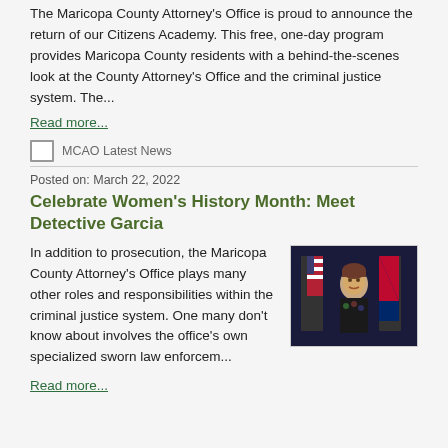The Maricopa County Attorney's Office is proud to announce the return of our Citizens Academy. This free, one-day program provides Maricopa County residents with a behind-the-scenes look at the County Attorney's Office and the criminal justice system. The...
Read more...
MCAO Latest News
Posted on: March 22, 2022
Celebrate Women's History Month: Meet Detective Garcia
In addition to prosecution, the Maricopa County Attorney's Office plays many other roles and responsibilities within the criminal justice system. One many don't know about involves the office's own specialized sworn law enforcem...
[Figure (photo): Photo of Detective Garcia standing in front of American and Arizona state flags]
Read more...